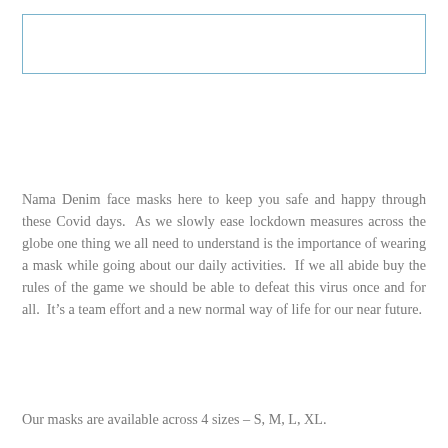[Figure (other): Empty rectangular box with light blue border, likely a placeholder for an image or logo]
Nama Denim face masks here to keep you safe and happy through these Covid days.  As we slowly ease lockdown measures across the globe one thing we all need to understand is the importance of wearing a mask while going about our daily activities.  If we all abide buy the rules of the game we should be able to defeat this virus once and for all.  It’s a team effort and a new normal way of life for our near future.
Our masks are available across 4 sizes – S, M, L, XL.